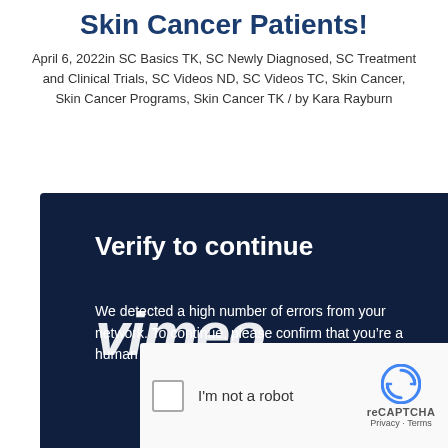Skin Cancer Patients!
April 6, 2022in SC Basics TK, SC Newly Diagnosed, SC Treatment and Clinical Trials, SC Videos ND, SC Videos TC, Skin Cancer, Skin Cancer Programs, Skin Cancer TK / by Kara Rayburn
[Figure (screenshot): Vimeo 'Verify to continue' screen with reCAPTCHA prompt. Dark navy background with bold white text reading 'Verify to continue', Vimeo logo watermark, body text 'We detected a high number of errors from your network. To continue, please confirm that you’re a human (and not a spambot).' and a reCAPTCHA checkbox widget on white background reading 'I\'m not a robot'.]